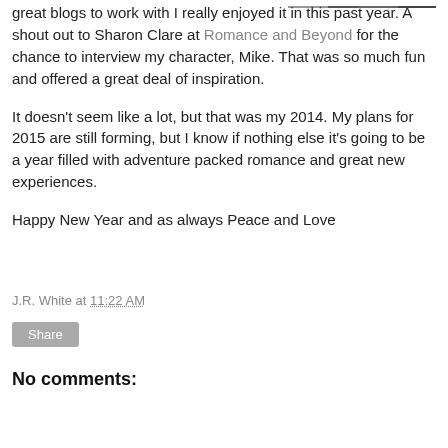[Figure (photo): Partial photo/image strip visible at top right corner of the page, mostly cropped]
great blogs to work with I really enjoyed it in this past year. A shout out to Sharon Clare at Romance and Beyond for the chance to interview my character, Mike. That was so much fun and offered a great deal of inspiration.
It doesn't seem like a lot, but that was my 2014. My plans for 2015 are still forming, but I know if nothing else it's going to be a year filled with adventure packed romance and great new experiences.
Happy New Year and as always Peace and Love
J.R. White at 11:22 AM
Share
No comments: